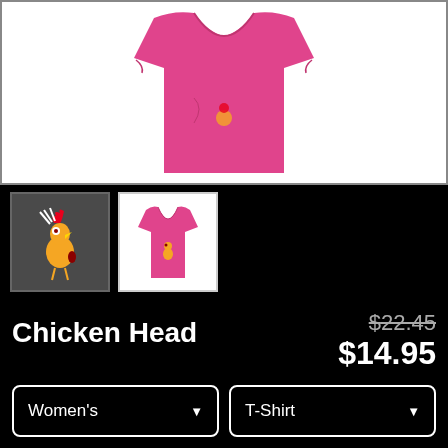[Figure (photo): Pink women's t-shirt product image on white background]
[Figure (photo): Thumbnail 1: Chicken Head cartoon graphic on dark gray background]
[Figure (photo): Thumbnail 2: Pink women's t-shirt with Chicken Head graphic, small product view]
Chicken Head
$22.45 (original price, crossed out)
$14.95 (sale price)
Women's (dropdown)
T-Shirt (dropdown)
SELECT YOUR FIT